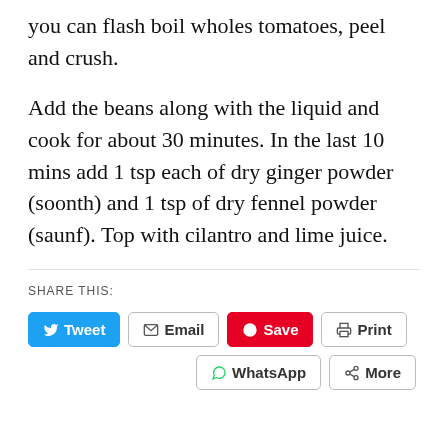you can flash boil wholes tomatoes, peel and crush.
Add the beans along with the liquid and cook for about 30 minutes. In the last 10 mins add 1 tsp each of dry ginger powder (soonth) and 1 tsp of dry fennel powder (saunf). Top with cilantro and lime juice.
SHARE THIS:
[Figure (screenshot): Social share buttons: Tweet (Twitter/blue), Email, Save (Pinterest/red), Print, WhatsApp, More]